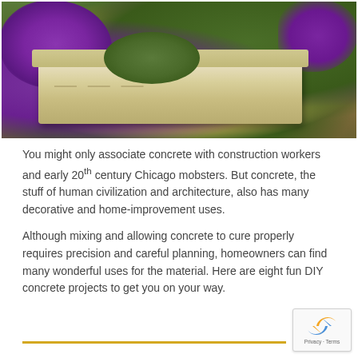[Figure (photo): Photograph of a rectangular concrete planter box filled with succulents and surrounded by purple flowering plants and green foliage]
You might only associate concrete with construction workers and early 20th century Chicago mobsters. But concrete, the stuff of human civilization and architecture, also has many decorative and home-improvement uses.
Although mixing and allowing concrete to cure properly requires precision and careful planning, homeowners can find many wonderful uses for the material. Here are eight fun DIY concrete projects to get you on your way.